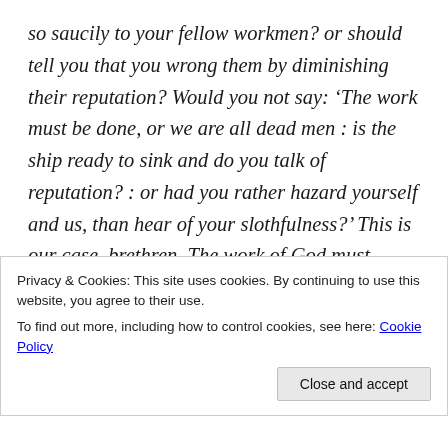so saucily to your fellow workmen? or should tell you that you wrong them by diminishing their reputation? Would you not say: ‘The work must be done, or we are all dead men : is the ship ready to sink and do you talk of reputation? : or had you rather hazard yourself and us, than hear of your slothfulness?’ This is our case, brethren. The work of God must needs be done : souls must not perish while you mind your worldly business, and take your ease, or quarrel with your brethren : nor must we be silent while men are
Privacy & Cookies: This site uses cookies. By continuing to use this website, you agree to their use.
To find out more, including how to control cookies, see here: Cookie Policy
Close and accept